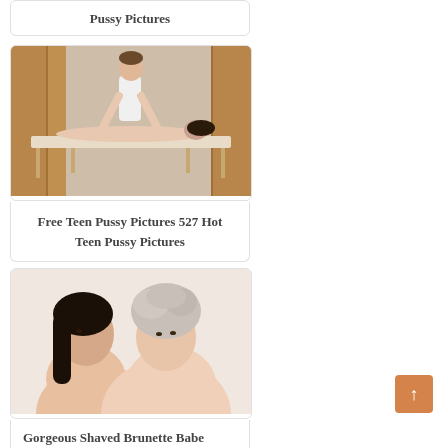Pussy Pictures
[Figure (photo): A man giving a massage to a woman lying on a massage table in a spa-like room with wooden walls.]
Free Teen Pussy Pictures 527 Hot Teen Pussy Pictures
[Figure (photo): Two women posing together, one with dark hair and one with curly gray/light hair, both unclothed from the shoulders up.]
Gorgeous Shaved Brunette Babe Heidi